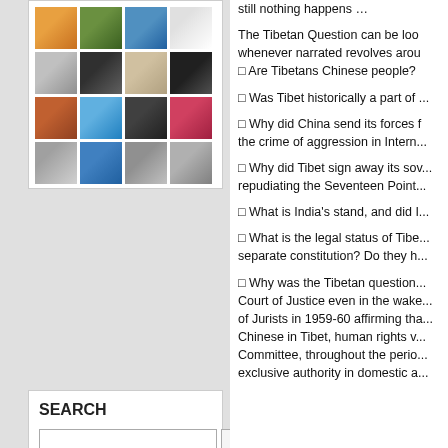[Figure (photo): Grid of user profile photos, 4 columns by 4 rows]
SEARCH
Search button and input field
still nothing happens …

The Tibetan Question can be looked at from many angles; it whenever narrated revolves around some key questions:
□ Are Tibetans Chinese people?

□ Was Tibet historically a part of ...

□ Why did China send its forces to ... the crime of aggression in Intern...

□ Why did Tibet sign away its sov... repudiating the Seventeen Point...

□ What is India's stand, and did I...


□ What is the legal status of Tibe... separate constitution? Do they h...

□ Why was the Tibetan question... Court of Justice even in the wake... of Jurists in 1959-60 affirming tha... Chinese in Tibet, human rights v... Committee, throughout the perio... exclusive authority in domestic a...